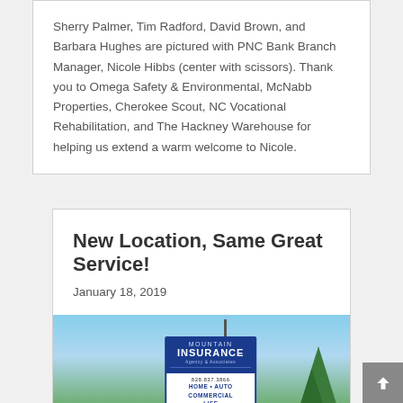Sherry Palmer, Tim Radford, David Brown, and Barbara Hughes are pictured with PNC Bank Branch Manager, Nicole Hibbs (center with scissors). Thank you to Omega Safety & Environmental, McNabb Properties, Cherokee Scout, NC Vocational Rehabilitation, and The Hackney Warehouse for helping us extend a warm welcome to Nicole.
New Location, Same Great Service!
January 18, 2019
[Figure (photo): Outdoor photo showing a Mountain Insurance agency sign (blue, with phone number 828.837.3866, Home, Auto, Commercial, Life services listed) on a pole, with trees and blue sky in the background.]